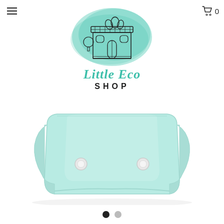[Figure (logo): Little Eco Shop logo: teal watercolor background with illustrated shop building and leaves, text 'Little Eco' in teal italic serif and 'SHOP' in bold black sans-serif]
[Figure (photo): Close-up product photo of a light mint/teal colored cloth diaper with snap buttons, shown against white background]
[Figure (infographic): Two slideshow navigation dots: one filled black (active) and one gray (inactive)]